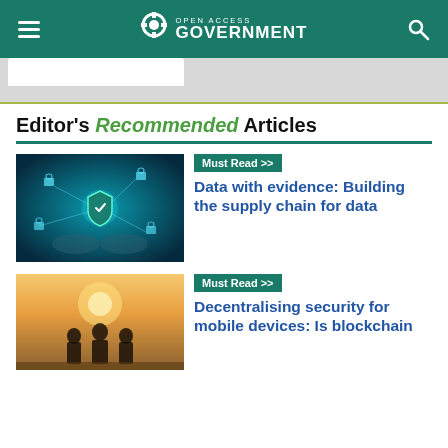Open Access Government
Editor's Recommended Articles
[Figure (screenshot): Cybersecurity themed image: hands with digital shield and lock icons glowing in blue tones]
Must Read >> Data with evidence: Building the supply chain for data
[Figure (photo): Group of people silhouetted against sunlight outdoors]
Must Read >> Decentralising security for mobile devices: Is blockchain